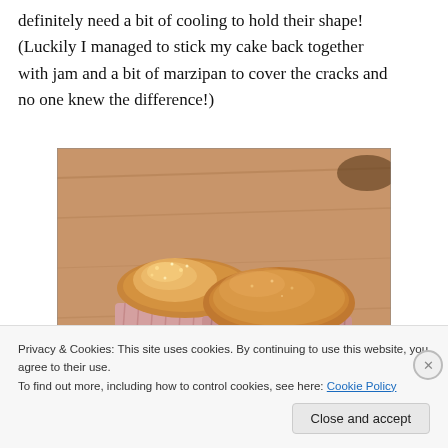definitely need a bit of cooling to hold their shape! (Luckily I managed to stick my cake back together with jam and a bit of marzipan to cover the cracks and no one knew the difference!)
[Figure (photo): Two golden-brown cupcakes/muffins in pink paper cases sitting on a wooden chopping board, viewed from above at a slight angle.]
Privacy & Cookies: This site uses cookies. By continuing to use this website, you agree to their use.
To find out more, including how to control cookies, see here: Cookie Policy
Close and accept